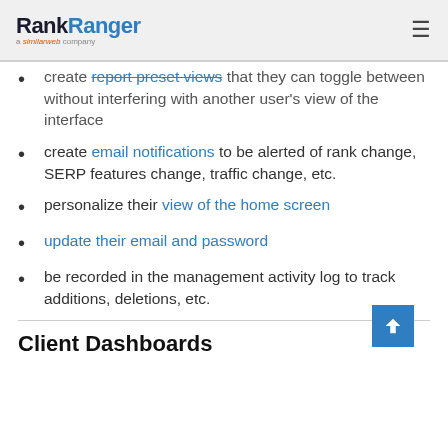RankRanger a similarweb company
create report preset views that they can toggle between without interfering with another user's view of the interface
create email notifications to be alerted of rank change, SERP features change, traffic change, etc.
personalize their view of the home screen
update their email and password
be recorded in the management activity log to track additions, deletions, etc.
Client Dashboards